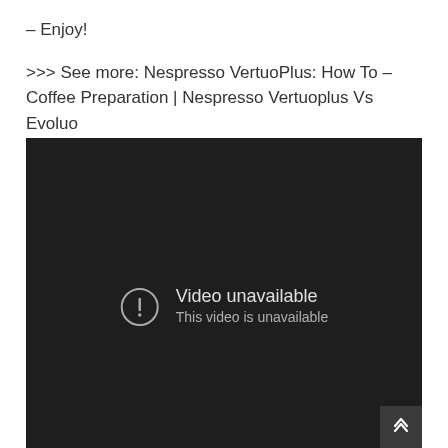– Enjoy!
>>> See more: Nespresso VertuoPlus: How To – Coffee Preparation | Nespresso Vertuoplus Vs Evoluo
[Figure (screenshot): A dark video player showing 'Video unavailable' message with an exclamation icon and text 'This video is unavailable'. A scroll-to-top button is visible in the bottom right corner.]